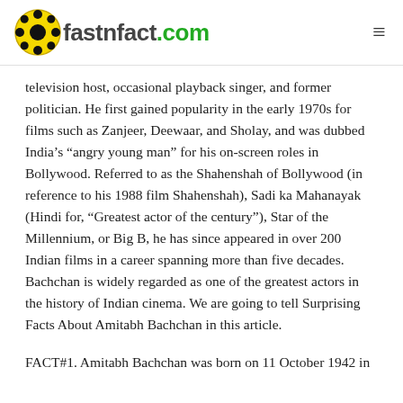fastnfact.com
television host, occasional playback singer, and former politician. He first gained popularity in the early 1970s for films such as Zanjeer, Deewaar, and Sholay, and was dubbed India’s “angry young man” for his on-screen roles in Bollywood. Referred to as the Shahenshah of Bollywood (in reference to his 1988 film Shahenshah), Sadi ka Mahanayak (Hindi for, “Greatest actor of the century”), Star of the Millennium, or Big B, he has since appeared in over 200 Indian films in a career spanning more than five decades. Bachchan is widely regarded as one of the greatest actors in the history of Indian cinema. We are going to tell Surprising Facts About Amitabh Bachchan in this article.
FACT#1. Amitabh Bachchan was born on 11 October 1942 in